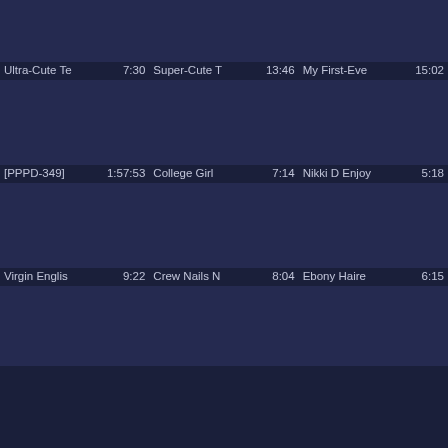[Figure (screenshot): Video thumbnail grid row 1 - three dark blue placeholder thumbnails]
Ultra-Cute Te  7:30   Super-Cute T  13:46   My First-Eve  15:02
[Figure (screenshot): Video thumbnail grid row 2 - three dark blue placeholder thumbnails]
[PPPD-349]  1:57:53   College Girl  7:14   Nikki D Enjoy  5:18
[Figure (screenshot): Video thumbnail grid row 3 - three dark blue placeholder thumbnails]
Virgin Englis  9:22   Crew Nails N  8:04   Ebony Haire  6:15
[Figure (screenshot): Video thumbnail grid row 4 - three dark blue placeholder thumbnails (partial)]